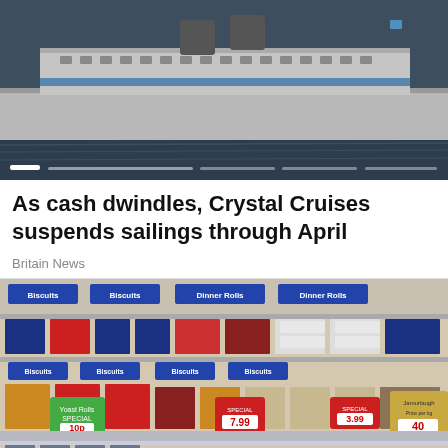[Figure (photo): Aerial or side view of a large cruise ship on dark water, with a progress/slider bar overlay at the bottom of the image.]
As cash dwindles, Crystal Cruises suspends sailings through April
Britain News
[Figure (photo): Interior photo of a supermarket aisle showing shelves stocked with biscuits, dinner rolls, and other packaged foods, with promotional price tags in red and green.]
Rising food prices: UK inflation at 30...